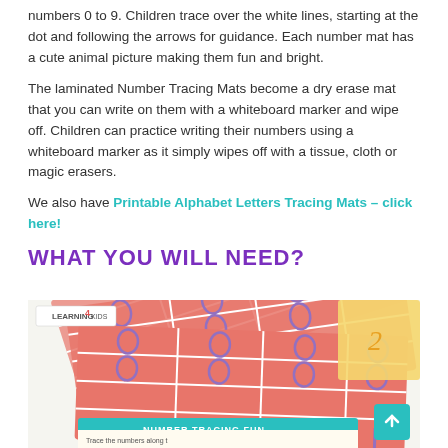numbers 0 to 9. Children trace over the white lines, starting at the dot and following the arrows for guidance. Each number mat has a cute animal picture making them fun and bright.
The laminated Number Tracing Mats become a dry erase mat that you can write on them with a whiteboard marker and wipe off. Children can practice writing their numbers using a whiteboard marker as it simply wipes off with a tissue, cloth or magic erasers.
We also have Printable Alphabet Letters Tracing Mats – click here!
WHAT YOU WILL NEED?
[Figure (photo): Photo of colorful number tracing mats fanned out, showing pink and red cards with traced zeros and ones, with a Learning 4 Kids logo in the top left corner and a teal scroll-to-top button in the bottom right.]